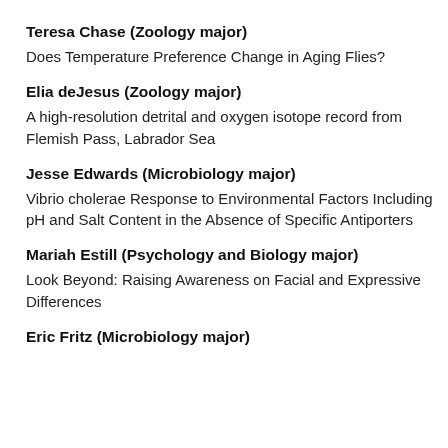Teresa Chase (Zoology major)
Does Temperature Preference Change in Aging Flies?
Elia deJesus (Zoology major)
A high-resolution detrital and oxygen isotope record from Flemish Pass, Labrador Sea
Jesse Edwards (Microbiology major)
Vibrio cholerae Response to Environmental Factors Including pH and Salt Content in the Absence of Specific Antiporters
Mariah Estill (Psychology and Biology major)
Look Beyond: Raising Awareness on Facial and Expressive Differences
Eric Fritz (Microbiology major)